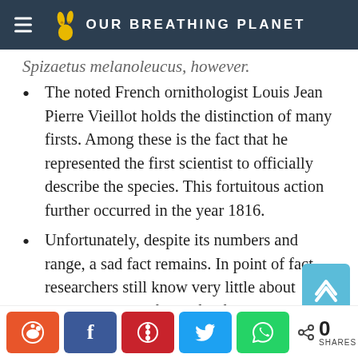OUR BREATHING PLANET
Spizaetus melanoleucus, however.
The noted French ornithologist Louis Jean Pierre Vieillot holds the distinction of many firsts. Among these is the fact that he represented the first scientist to officially describe the species. This fortuitous action further occurred in the year 1816.
Unfortunately, despite its numbers and range, a sad fact remains. In point of fact, researchers still know very little about certain aspects of the life of this bird. This lack of information holds especially true in
Share buttons: Reddit, Facebook, Pinterest, Twitter, WhatsApp | 0 SHARES